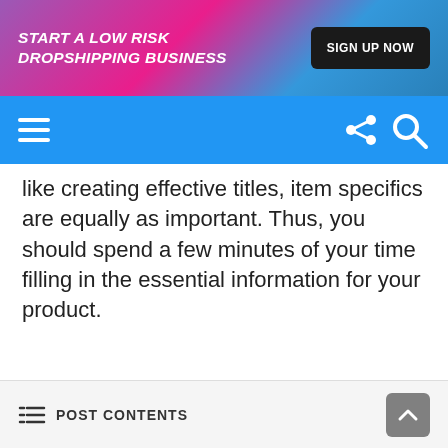[Figure (infographic): Banner advertisement with gradient background (purple to pink to blue). Text reads 'START A LOW RISK DROPSHIPPING BUSINESS' in bold italic white uppercase. Button on right reads 'SIGN UP NOW' on dark background.]
[Figure (screenshot): Blue navigation bar with hamburger menu icon (three white lines) on left and share/search icons on right.]
like creating effective titles, item specifics are equally as important. Thus, you should spend a few minutes of your time filling in the essential information for your product.
POST CONTENTS